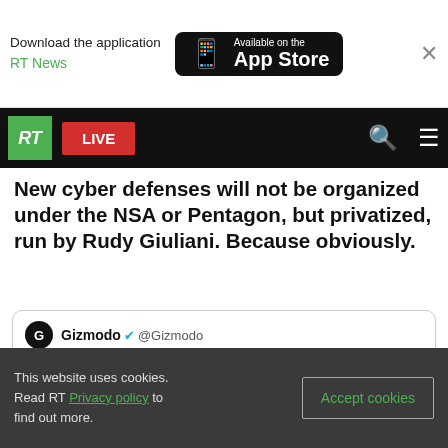Download the application RT News | Available on the App Store
[Figure (screenshot): RT News website navigation bar with RT logo, LIVE button, search and menu icons]
New cyber defenses will not be organized under the NSA or Pentagon, but privatized, run by Rudy Giuliani. Because obviously.
Gizmodo @Gizmodo
Rudy Giuliani is forming a cybersecurity team for Trump, led by the private sector gizmo.do/HpalJ0B
[Figure (photo): Partial photo of a bald man with glasses against a dark red background]
This website uses cookies. Read RT Privacy policy to find out more.